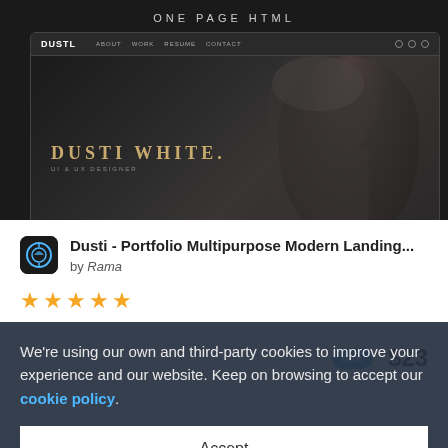[Figure (screenshot): Screenshot of a dark portfolio website template called 'Dusti White' showing a moody black and white photo of a person wearing a beanie hat and glasses. The website navbar shows 'DUSTL' brand name with navigation links. The hero text reads 'DUSTI WHITE.' in golden/amber color. Above the browser mockup is text 'ONE PAGE HTML'.]
Dusti - Portfolio Multipurpose Modern Landing... by Rama
[Figure (other): Five gold star rating icons]
We're using our own and third-party cookies to improve your experience and our website. Keep on browsing to accept our cookie policy.
Accept